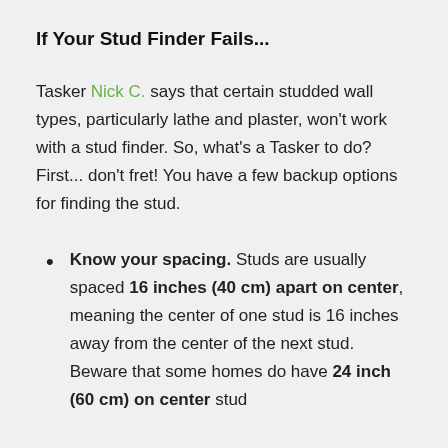If Your Stud Finder Fails...
Tasker Nick C. says that certain studded wall types, particularly lathe and plaster, won't work with a stud finder. So, what's a Tasker to do? First... don't fret! You have a few backup options for finding the stud.
Know your spacing. Studs are usually spaced 16 inches (40 cm) apart on center, meaning the center of one stud is 16 inches away from the center of the next stud. Beware that some homes do have 24 inch (60 cm) on center stud